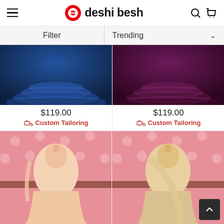deshi besh
Filter
Trending
[Figure (photo): A dark navy blue layered skirt/lehenga with embroidered tiers, showing only the lower portion]
$119.00
Custom Tailoring
[Figure (photo): A deep burgundy/wine colored layered skirt/lehenga with embroidered tiers, showing only the lower portion]
$119.00
Custom Tailoring
[Figure (photo): A woman wearing a peach/cream colored long anarkali dress with dupatta, posed against a pink dotted background]
[Figure (photo): A woman wearing a cream/gold colored long anarkali dress with dupatta, posed against a pink dotted background]